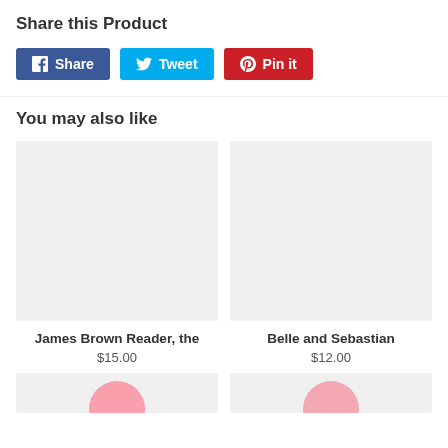Share this Product
[Figure (infographic): Social sharing buttons: Facebook Share (blue), Twitter Tweet (light blue), Pinterest Pin it (red)]
You may also like
[Figure (photo): Product image placeholder for James Brown Reader, the]
James Brown Reader, the
$15.00
[Figure (photo): Product image placeholder for Belle and Sebastian]
Belle and Sebastian
$12.00